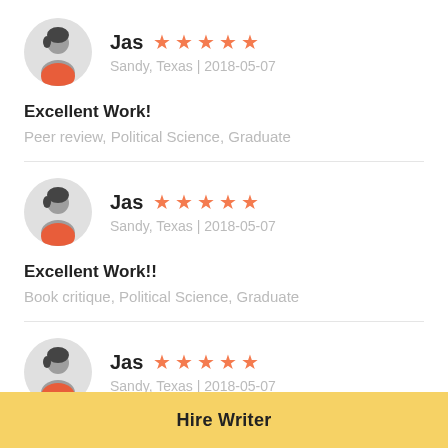[Figure (illustration): Avatar icon of a person with dark hair and red shirt on grey circle background]
Jas ★★★★★
Sandy, Texas | 2018-05-07
Excellent Work!
Peer review, Political Science, Graduate
[Figure (illustration): Avatar icon of a person with dark hair and red shirt on grey circle background]
Jas ★★★★★
Sandy, Texas | 2018-05-07
Excellent Work!!
Book critique, Political Science, Graduate
[Figure (illustration): Avatar icon of a person with dark hair and red shirt on grey circle background]
Jas ★★★★★
Sandy, Texas | 2018-05-07
Hire Writer